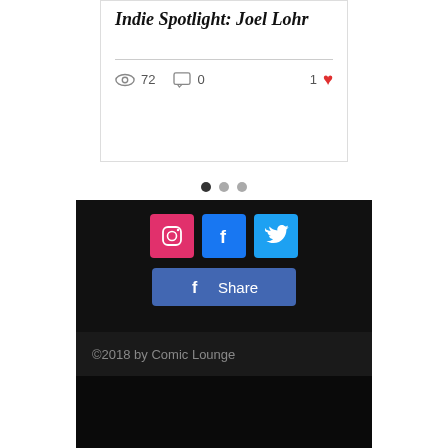Indie Spotlight: Joel Lohr
72 views · 0 comments · 1 like
[Figure (screenshot): Pagination dots showing 3 slides; first dot active (dark), second and third grey.]
[Figure (screenshot): Social media icons row: Instagram (pink), Facebook (blue), Twitter (light blue) on dark background]
[Figure (screenshot): Facebook Share button on dark background]
©2018 by Comic Lounge